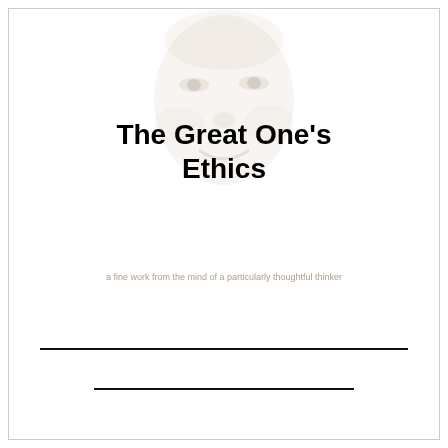[Figure (photo): Faded/ghosted portrait photo of a person's face, very lightly visible, used as background illustration behind the book title text]
The Great One's Ethics
a faded subtitle line of text, largely illegible
Horizontal rule line (full width)
Horizontal rule line (shorter)